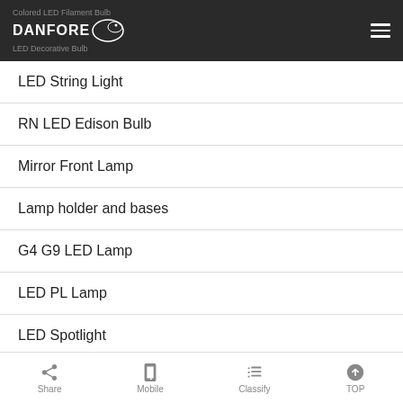DANFORE — navigation header with logo and hamburger menu
LED String Light
RN LED Edison Bulb
Mirror Front Lamp
Lamp holder and bases
G4 G9 LED Lamp
LED PL Lamp
LED Spotlight
Artline Bulb
Crystal LED Bulb
Share | Mobile | Classify | TOP